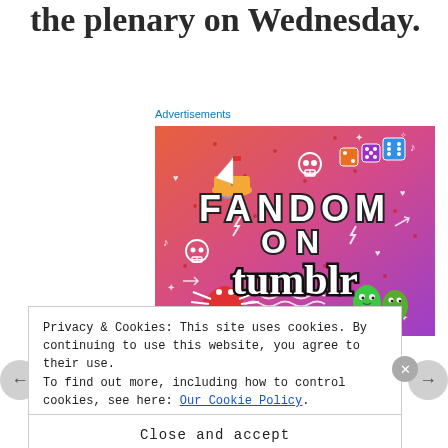the plenary on Wednesday.
Advertisements
[Figure (illustration): Fandom on Tumblr advertisement banner with colorful illustrated doodles (sailboat, skull, spider, dice, leaf characters) on an orange-to-purple gradient background with large bold text reading 'FANDOM ON tumblr']
Privacy & Cookies: This site uses cookies. By continuing to use this website, you agree to their use.
To find out more, including how to control cookies, see here: Our Cookie Policy.
Close and accept